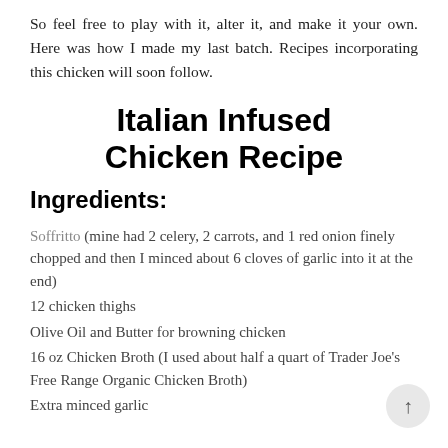So feel free to play with it, alter it, and make it your own. Here was how I made my last batch. Recipes incorporating this chicken will soon follow.
Italian Infused Chicken Recipe
Ingredients:
Soffritto (mine had 2 celery, 2 carrots, and 1 red onion finely chopped and then I minced about 6 cloves of garlic into it at the end)
12 chicken thighs
Olive Oil and Butter for browning chicken
16 oz Chicken Broth (I used about half a quart of Trader Joe's Free Range Organic Chicken Broth)
Extra minced garlic